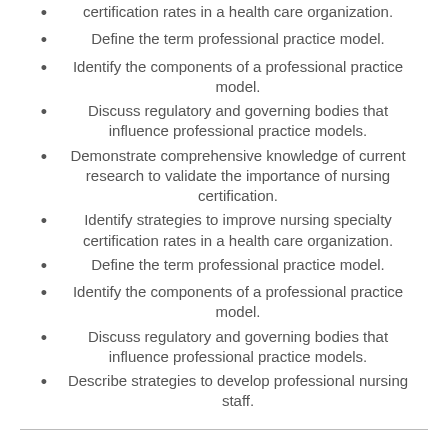certification rates in a health care organization.
Define the term professional practice model.
Identify the components of a professional practice model.
Discuss regulatory and governing bodies that influence professional practice models.
Demonstrate comprehensive knowledge of current research to validate the importance of nursing certification.
Identify strategies to improve nursing specialty certification rates in a health care organization.
Define the term professional practice model.
Identify the components of a professional practice model.
Discuss regulatory and governing bodies that influence professional practice models.
Describe strategies to develop professional nursing staff.